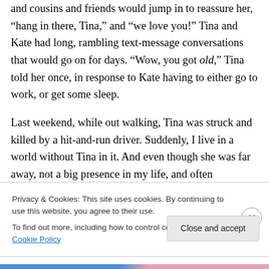and cousins and friends would jump in to reassure her, “hang in there, Tina,” and “we love you!” Tina and Kate had long, rambling text-message conversations that would go on for days. “Wow, you got old,” Tina told her once, in response to Kate having to either go to work, or get some sleep.
Last weekend, while out walking, Tina was struck and killed by a hit-and-run driver. Suddenly, I live in a world without Tina in it. And even though she was far away, not a big presence in my life, and often aggravated me, this
Privacy & Cookies: This site uses cookies. By continuing to use this website, you agree to their use.
To find out more, including how to control cookies, see here: Cookie Policy